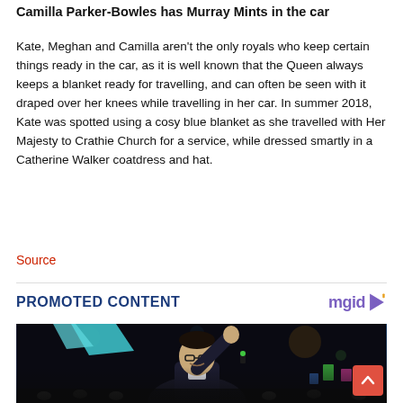Camilla Parker-Bowles has Murray Mints in the car
Kate, Meghan and Camilla aren't the only royals who keep certain things ready in the car, as it is well known that the Queen always keeps a blanket ready for travelling, and can often be seen with it draped over her knees while travelling in her car. In summer 2018, Kate was spotted using a cosy blue blanket as she travelled with Her Majesty to Crathie Church for a service, while dressed smartly in a Catherine Walker coatdress and hat.
Source
PROMOTED CONTENT
[Figure (photo): A man in a dark suit with glasses raising his hand in celebration in front of a large crowd at night, with lights in the background.]